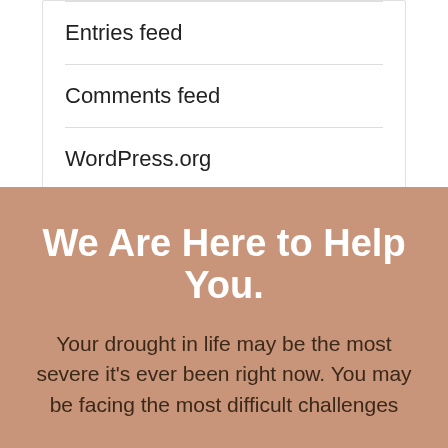Entries feed
Comments feed
WordPress.org
We Are Here to Help You.
Your drought in life may be the most severe it's ever been right now. You may be facing the most difficult challenges